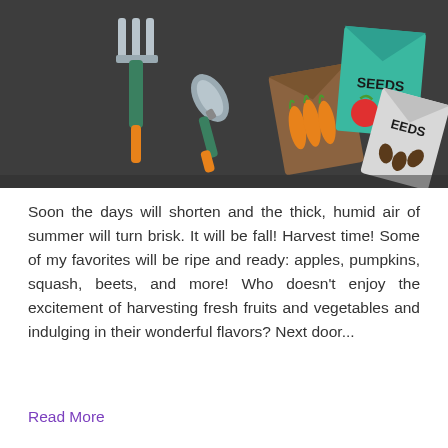[Figure (illustration): Flat illustration of gardening tools and seed packets on a dark gray background. A pitchfork/garden fork and a hand trowel with orange handles are on the left. On the right are several colorful seed packets: a brown envelope with carrot illustrations, a teal/green packet labeled 'SEEDS' with a red tomato graphic, and a white/gray packet labeled 'EEDS' with brown seed illustrations.]
Soon the days will shorten and the thick, humid air of summer will turn brisk. It will be fall! Harvest time! Some of my favorites will be ripe and ready: apples, pumpkins, squash, beets, and more! Who doesn't enjoy the excitement of harvesting fresh fruits and vegetables and indulging in their wonderful flavors? Next door...
Read More